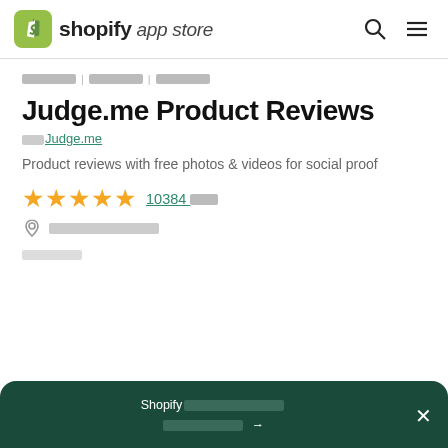shopify app store
[breadcrumb links redacted]
Judge.me Product Reviews
由 Judge.me
Product reviews with free photos & videos for social proof
★★★★★ 10384 則評論
[location redacted]
[section label redacted]
Shopify[redacted] → [close]